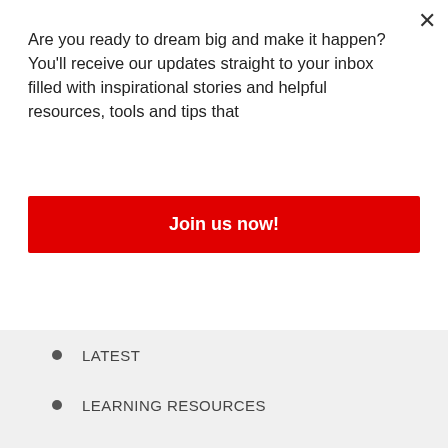Are you ready to dream big and make it happen? You'll receive our updates straight to your inbox filled with inspirational stories and helpful resources, tools and tips that
Join us now!
LATEST
LEARNING RESOURCES
MOVIES
MUSIC
PHOTOGRAPHY
TRAVEL